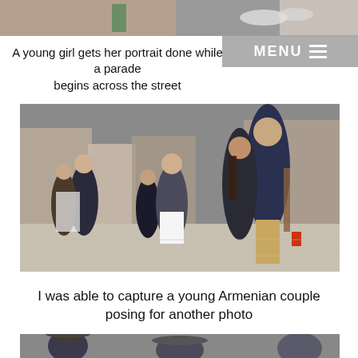[Figure (photo): Partial photo at top of page, cropped street/outdoor scene]
A young girl gets her portrait done while a parade begins across the street
[Figure (photo): Photo of a young Armenian couple posing on a busy city street with crowds of people in the background]
I was able to capture a young Armenian couple posing for another photo
[Figure (photo): Partial photo at bottom, cropped crowd scene]